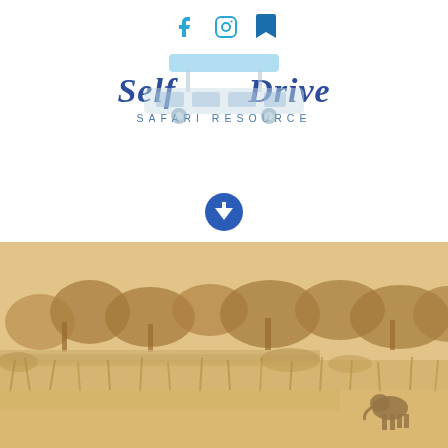[Figure (logo): Social media icons: Facebook, Instagram, and bookmark/save icon in teal/blue colors at the top center of the page]
[Figure (logo): Self Drive Safari Resource logo - featuring an illustrated safari vehicle with a rooftop tent, text reading SELF DRIVE in bold italic dark blue serif font, and SAFARI RESOURCE in spaced small caps below]
[Figure (other): Blue circular download/arrow-down button icon centered on white background]
[Figure (photo): Sepia-toned safari landscape photograph showing an elephant standing near a rocky river crossing or low bridge, with dry bush and trees in the background]